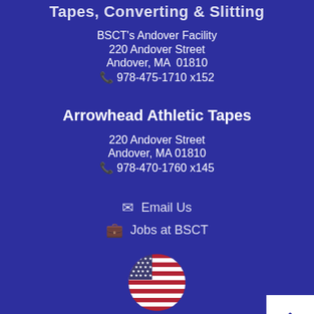Tapes, Converting & Slitting
BSCT's Andover Facility
220 Andover Street
Andover, MA  01810
📞 978-475-1710 x152
Arrowhead Athletic Tapes
220 Andover Street
Andover, MA 01810
📞 978-470-1760 x145
✉ Email Us
💼 Jobs at BSCT
[Figure (illustration): A circular badge with the American flag design representing Made in the USA]
Made in the USA
© Copyright 2022 bradford-shawsheen. Powered by Sh...